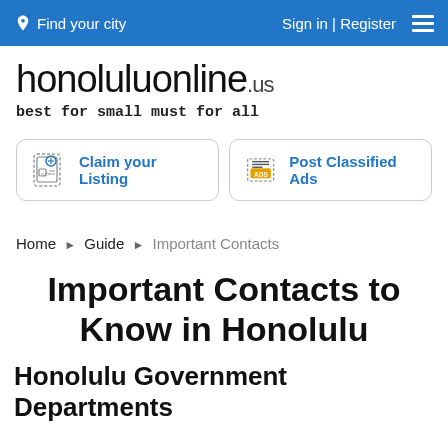Find your city | Sign in | Register
honoluluonline.us
best for small must for all
Claim your Listing
Post Classified Ads
Home ▶ Guide ▶ Important Contacts
Important Contacts to Know in Honolulu
Honolulu Government Departments